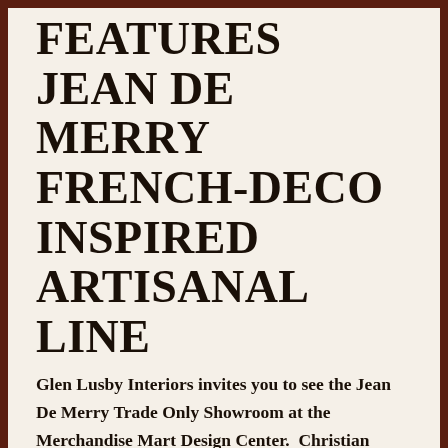FEATURES JEAN DE MERRY FRENCH-DECO INSPIRED ARTISANAL LINE
Glen Lusby Interiors invites you to see the Jean De Merry Trade Only Showroom at the Merchandise Mart Design Center.  Christian Darnaud-Maroselli and Jean de Merry founded the namesake furniture line, in 2001 with a mission to uphold the craft of a bygone era. From a small French town where successive generations of de Merry's family had operated a leather tanning business for four centuries, to creating a visionary home collection based on for the in California selling A reach